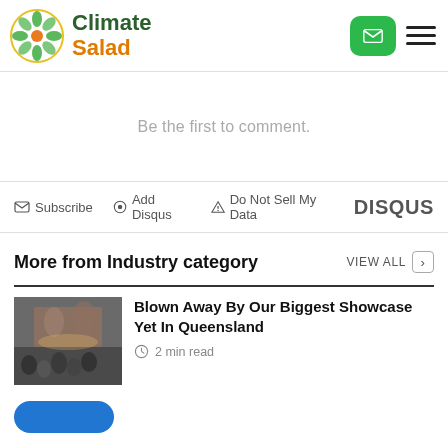[Figure (logo): Climate Salad logo with green leaf circle icon and text 'Climate Salad']
Be the first to comment.
Subscribe  Add Disqus  Do Not Sell My Data  DISQUS
More from Industry category
[Figure (photo): Photo of a crowd at a Queensland showcase event]
Blown Away By Our Biggest Showcase Yet In Queensland
2 min read